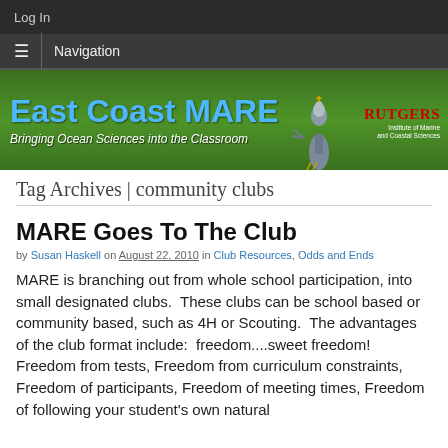Log In
≡  Navigation
[Figure (illustration): East Coast MARE banner with blue text, heron bird, and Rutgers logo on a green marsh background. Subtitle: Bringing Ocean Sciences into the Classroom]
Tag Archives | community clubs
MARE Goes To The Club
by Susan Haskell on August 22, 2010 in Club Resources, Odds and Ends
MARE is branching out from whole school participation, into small designated clubs.  These clubs can be school based or community based, such as 4H or Scouting.  The advantages of the club format include:  freedom....sweet freedom!  Freedom from tests, Freedom from curriculum constraints, Freedom of participants, Freedom of meeting times, Freedom of following your student's own natural